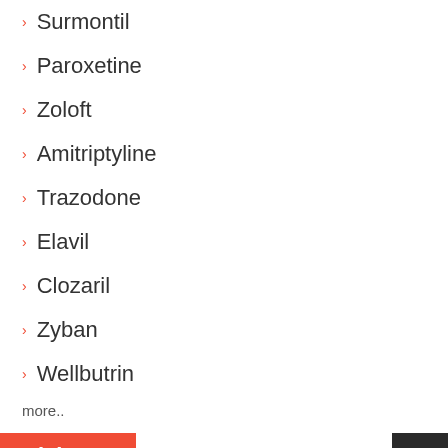Surmontil
Paroxetine
Zoloft
Amitriptyline
Trazodone
Elavil
Clozaril
Zyban
Wellbutrin
more..
Diabetes
Metformin
Actos